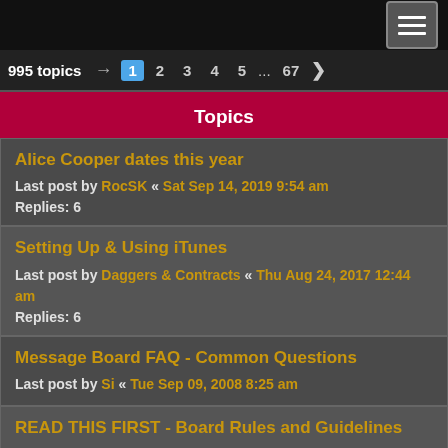995 topics  1 2 3 4 5 ... 67 >
Topics
Alice Cooper dates this year
Last post by RocSK « Sat Sep 14, 2019 9:54 am
Replies: 6
Setting Up & Using iTunes
Last post by Daggers & Contracts « Thu Aug 24, 2017 12:44 am
Replies: 6
Message Board FAQ - Common Questions
Last post by Si « Tue Sep 09, 2008 8:25 am
READ THIS FIRST - Board Rules and Guidelines
Last post by Si « Tue Sep 09, 2008 8:13 am